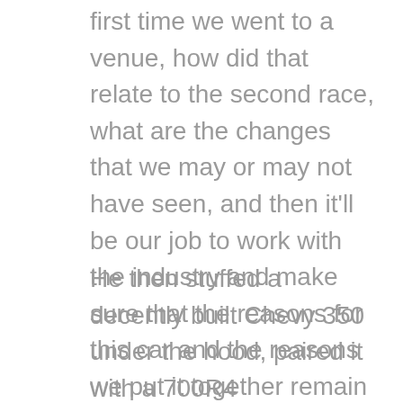first time we went to a venue, how did that relate to the second race, what are the changes that we may or may not have seen, and then it'll be our job to work with the industry and make sure that the reasons for this car and the reasons we put it together remain intact.Liz Lambert, a marketing and communications manager for Vitalant, says they expect that number to increase in the coming days and weeks.Fix: Even if you're sure those rumbles are for hunger, preloading meals with some good ol' calorie-free H2O can shave some calories.
He then stuffed a decently built Chevy 350 under the hood, paired it with a 700R4 transmission and a Ford 9-inch rear end, and commissioned Scott's Hot Rods to build a full suspension system complete with coilovers